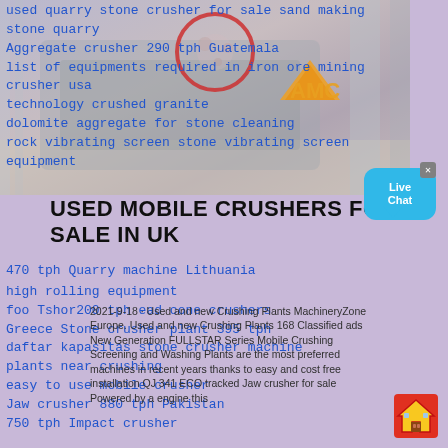[Figure (photo): Industrial stone crusher machine in a factory setting, with AMC logo overlay and a red circle highlighting part of the machine]
used quarry stone crusher for sale sand making stone quarry
Aggregate crusher 290 tph Guatemala
list of equipments required in iron ore mining crusher usa
technology crushed granite
dolomite aggregate for stone cleaning
rock vibrating screen stone vibrating screen equipment
USED MOBILE CRUSHERS FOR SALE IN UK
470 tph Quarry machine Lithuania
high rolling equipment
foo Tshor200 tph ead cone crushers
Greece Stone crusher plant 395 tph
daftar kapasitas stone crusher machine
plants near crushing
easy to use mobile crusher
Jaw crusher 880 tph Pakistan
750 tph Impact crusher
2021-9-18 · Used and new Crushing Plants MachineryZone Europe. Used and new Crushing Plants 168 Classified ads New Generation FULLSTAR Series Mobile Crushing Screening and Washing Plants are the most preferred machines in recent years thanks to easy and cost free installation QJ 341 ECO tracked Jaw crusher for sale Powered by a engine this